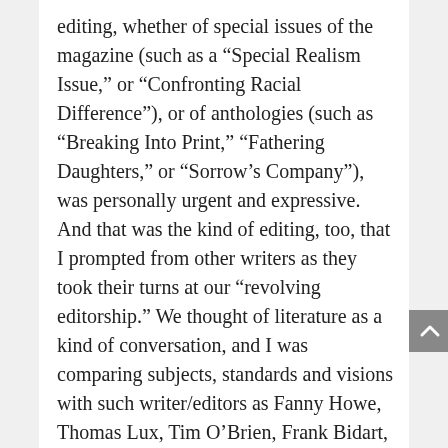editing, whether of special issues of the magazine (such as a “Special Realism Issue,” or “Confronting Racial Difference”), or of anthologies (such as “Breaking Into Print,” “Fathering Daughters,” or “Sorrow’s Company”), was personally urgent and expressive. And that was the kind of editing, too, that I prompted from other writers as they took their turns at our “revolving editorship.” We thought of literature as a kind of conversation, and I was comparing subjects, standards and visions with such writer/editors as Fanny Howe, Thomas Lux, Tim O’Brien, Frank Bidart, Margot Livesey, Jane Shore, James Alan McPherson, Gail Mazur, Sue Miller, James Carroll, Seamus Heaney, Joyce Peseroff, Raymond Carver, George Garrett, and many others as the network grew. Of course, not all writers are talented as